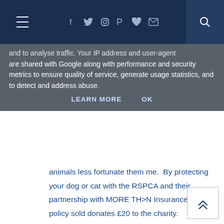Navigation bar with hamburger menu, social icons (Facebook, Twitter, Instagram, Pinterest, heart, email), and search button
and to analyse traffic. Your IP address and user-agent are shared with Google along with performance and security metrics to ensure quality of service, generate usage statistics, and to detect and address abuse.
LEARN MORE   OK
animals less fortunate them me.  By protecting your dog or cat with the RSPCA and their partnership with MORE TH>N Insurance, each policy sold donates £20 to the charity.
[Figure (other): Back to top button with double chevron up arrow]